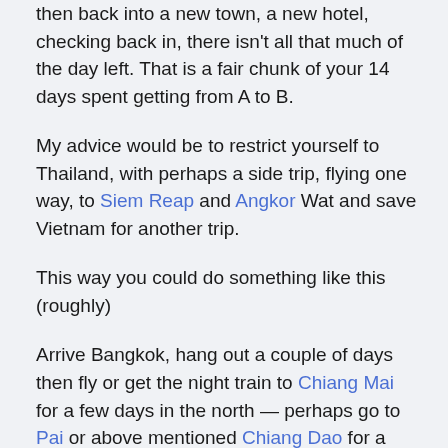then back into a new town, a new hotel, checking back in, there isn't all that much of the day left. That is a fair chunk of your 14 days spent getting from A to B.
My advice would be to restrict yourself to Thailand, with perhaps a side trip, flying one way, to Siem Reap and Angkor Wat and save Vietnam for another trip.
This way you could do something like this (roughly)
Arrive Bangkok, hang out a couple of days then fly or get the night train to Chiang Mai for a few days in the north — perhaps go to Pai or above mentioned Chiang Dao for a few days in the north. That is one week done.